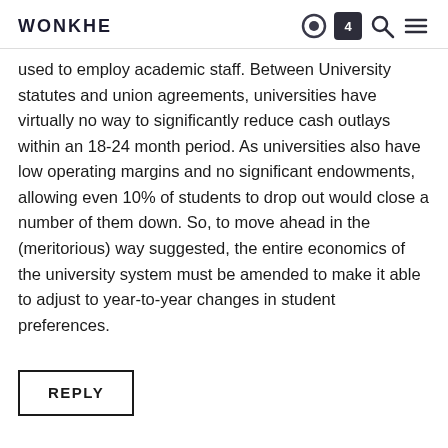WONKHE
used to employ academic staff. Between University statutes and union agreements, universities have virtually no way to significantly reduce cash outlays within an 18-24 month period. As universities also have low operating margins and no significant endowments, allowing even 10% of students to drop out would close a number of them down. So, to move ahead in the (meritorious) way suggested, the entire economics of the university system must be amended to make it able to adjust to year-to-year changes in student preferences.
REPLY
Mel Fox says:
Jun 15 2020 at 10:22 am
Just a little thing, but important to understanding: